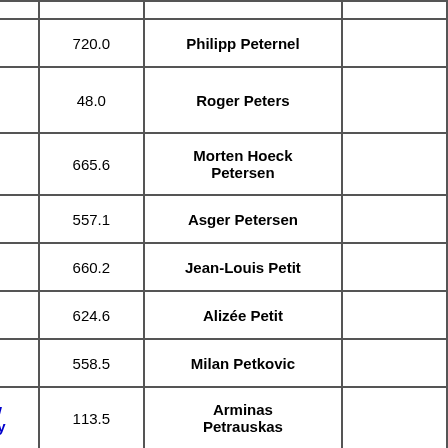| ID | Rank/Change | Score | Name | Extra |
| --- | --- | --- | --- | --- |
| 1519 | 723 | 720.0 | Philipp Peternel |  |
| 5215 | 168 | 48.0 | Roger Peters |  |
| 2044 | 84 | 665.6 | Morten Hoeck Petersen |  |
| 3093 | 57 | 557.1 | Asger Petersen |  |
| 2098 | 237 | 660.2 | Jean-Louis Petit |  |
| 2447 | 62 | 624.6 | Alizée Petit |  |
| 3077 | 292 | 558.5 | Milan Petkovic |  |
| 5115 | New Entry | 113.5 | Arminas Petrauskas |  |
| 2202 | 71 | 650.1 | Andrei-Sebastian Petrescu |  |
| 4721 | 157 | 276.2 | Matej Petrik |  |
| 886 | 160 | 802.4 | Roman Petro |  |
| 1728 | 43 | 698.9 | Paul Petrovan |  |